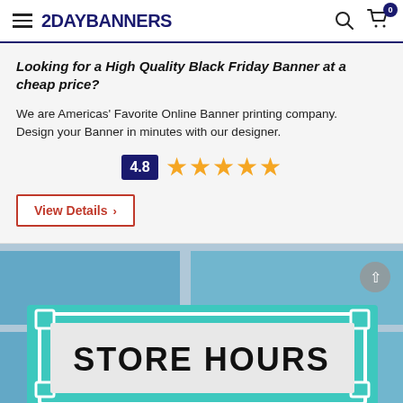2DAYBANNERS
Looking for a High Quality Black Friday Banner at a cheap price?
We are Americas' Favorite Online Banner printing company. Design your Banner in minutes with our designer.
4.8 ★★★★★
View Details >
[Figure (photo): Photograph of a teal/green banner reading STORE HOURS hanging on a window of a building with blue glass panels]